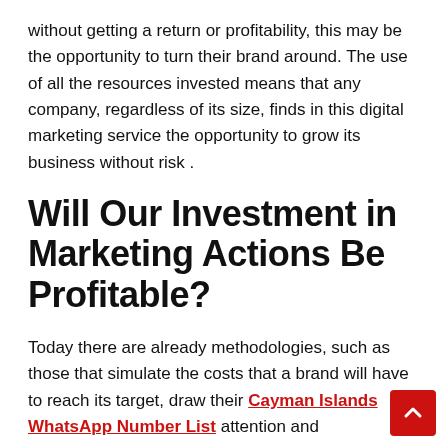without getting a return or profitability, this may be the opportunity to turn their brand around. The use of all the resources invested means that any company, regardless of its size, finds in this digital marketing service the opportunity to grow its business without risk .
Will Our Investment in Marketing Actions Be Profitable?
Today there are already methodologies, such as those that simulate the costs that a brand will have to reach its target, draw their Cayman Islands WhatsApp Number List attention and